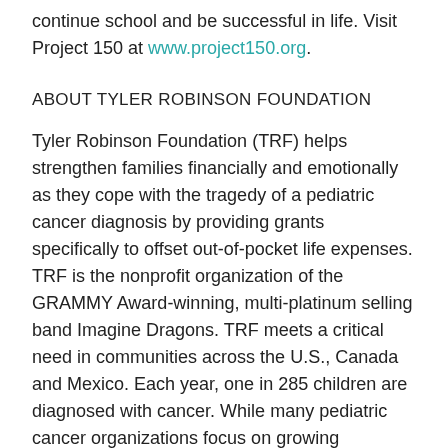continue school and be successful in life. Visit Project 150 at www.project150.org.
ABOUT TYLER ROBINSON FOUNDATION
Tyler Robinson Foundation (TRF) helps strengthen families financially and emotionally as they cope with the tragedy of a pediatric cancer diagnosis by providing grants specifically to offset out-of-pocket life expenses. TRF is the nonprofit organization of the GRAMMY Award-winning, multi-platinum selling band Imagine Dragons. TRF meets a critical need in communities across the U.S., Canada and Mexico. Each year, one in 285 children are diagnosed with cancer. While many pediatric cancer organizations focus on growing awareness and support for families